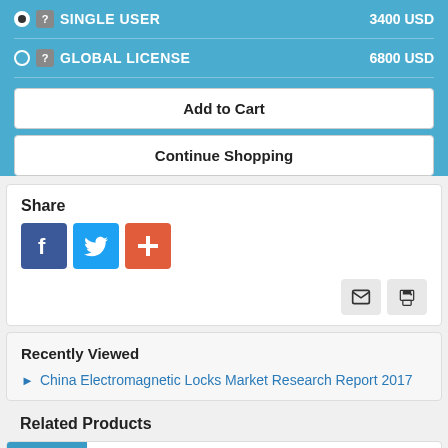SINGLE USER — 3400 USD
GLOBAL LICENSE — 6800 USD
Add to Cart
Continue Shopping
Share
[Figure (infographic): Social share icons: Facebook (blue), Twitter (blue), and a red plus/add button, plus email and print icon buttons]
Recently Viewed
China Electromagnetic Locks Market Research Report 2017
Related Products
Global Die Bonder Equipment Market Research Report 2018-2023 by Players, Regions, Product Types &